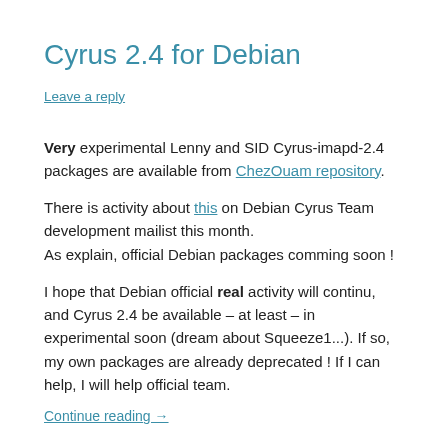Cyrus 2.4 for Debian
Leave a reply
Very experimental Lenny and SID Cyrus-imapd-2.4 packages are available from ChezOuam repository.
There is activity about this on Debian Cyrus Team development mailist this month.
As explain, official Debian packages comming soon !
I hope that Debian official real activity will continu, and Cyrus 2.4 be available – at least – in experimental soon (dream about Squeeze1...). If so, my own packages are already deprecated ! If I can help, I will help official team.
Continue reading →